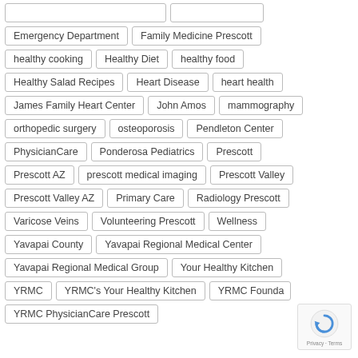Emergency Department
Family Medicine Prescott
healthy cooking
Healthy Diet
healthy food
Healthy Salad Recipes
Heart Disease
heart health
James Family Heart Center
John Amos
mammography
orthopedic surgery
osteoporosis
Pendleton Center
PhysicianCare
Ponderosa Pediatrics
Prescott
Prescott AZ
prescott medical imaging
Prescott Valley
Prescott Valley AZ
Primary Care
Radiology Prescott
Varicose Veins
Volunteering Prescott
Wellness
Yavapai County
Yavapai Regional Medical Center
Yavapai Regional Medical Group
Your Healthy Kitchen
YRMC
YRMC's Your Healthy Kitchen
YRMC Founda...
YRMC PhysicianCare Prescott